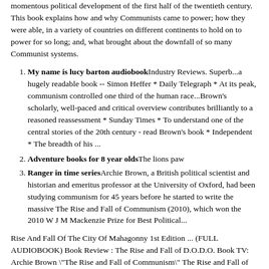momentous political development of the first half of the twentieth century. This book explains how and why Communists came to power; how they were able, in a variety of countries on different continents to hold on to power for so long; and, what brought about the downfall of so many Communist systems.
My name is lucy barton audiobookIndustry Reviews. Superb...a hugely readable book -- Simon Heffer * Daily Telegraph * At its peak, communism controlled one third of the human race...Brown's scholarly, well-paced and critical overview contributes brilliantly to a reasoned reassessment * Sunday Times * To understand one of the central stories of the 20th century - read Brown's book * Independent * The breadth of his ...
Adventure books for 8 year oldsThe lions paw
Ranger in time seriesArchie Brown, a British political scientist and historian and emeritus professor at the University of Oxford, had been studying communism for 45 years before he started to write the massive The Rise and Fall of Communism (2010), which won the 2010 W J M Mackenzie Prize for Best Political...
Rise And Fall Of The City Of Mahagonny 1st Edition ... (FULL AUDIOBOOK) Book Review : The Rise and Fall of D.O.D.O. Book TV: Archie Brown "The Rise and Fall of Communism" The Rise and Fall of Artemis Fowl Rise And Fall Of The The Rise and